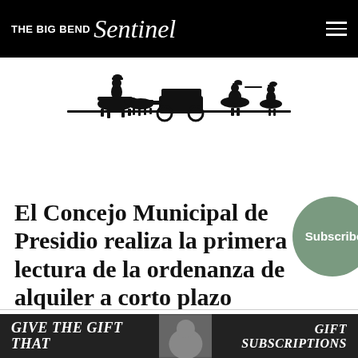THE BIG BEND Sentinel
[Figure (illustration): Black silhouette illustration of a western/frontier scene with figures on horseback and other characters]
El Concejo Municipal de Presidio realiza la primera lectura de la ordenanza de alquiler a corto plazo propuesta
BY SAM KARAS
GIVE THE GIFT THAT   GIFT SUBSCRIPTIONS